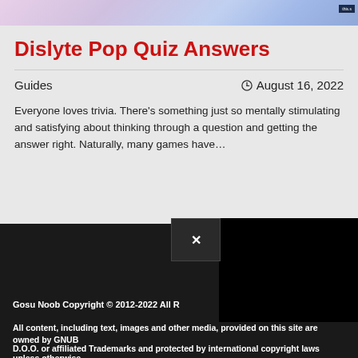[Figure (screenshot): Top banner image with purple/blue gradient background and a small dark badge in top right corner]
Dislyte Pop Quiz Answers
Guides    ⏰ August 16, 2022
Everyone loves trivia. There’s something just so mentally stimulating and satisfying about thinking through a question and getting the answer right. Naturally, many games have…
[Figure (screenshot): Dark footer area with social media icons (Twitter bird, Facebook F), a popup close button overlay, and a black video/ad box]
Gosu Noob Copyright © 2012-2022 All R
All content, including text, images and other media, provided on this site are owned by GNUB
D.O.O. or affiliated Trademarks and protected by international copyright laws unless otherwise